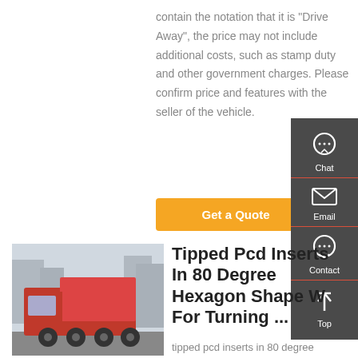contain the notation that it is "Drive Away", the price may not include additional costs, such as stamp duty and other government charges. Please confirm price and features with the seller of the vehicle.
Get a Quote
[Figure (other): Sidebar with Chat, Email, Contact, Top icons on dark background]
[Figure (photo): Red heavy-duty dump truck parked on a street with urban buildings in background]
Tipped Pcd Inserts In 80 Degree Hexagon Shape W For Turning ...
tipped pcd inserts in 80 degree